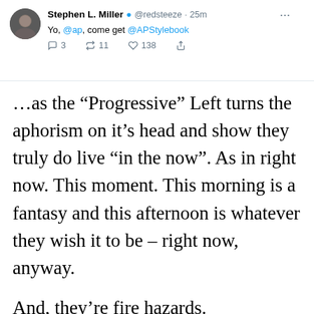[Figure (screenshot): Tweet from @redsteeze (Stephen L. Miller) saying 'Yo, @ap, come get @APStylebook' with 3 replies, 11 retweets, 138 likes, posted 25 minutes ago]
…as the “Progressive” Left turns the aphorism on it’s head and show they truly do live “in the now”. As in right now. This moment. This morning is a fantasy and this afternoon is whatever they wish it to be – right now, anyway.
And, they’re fire hazards.